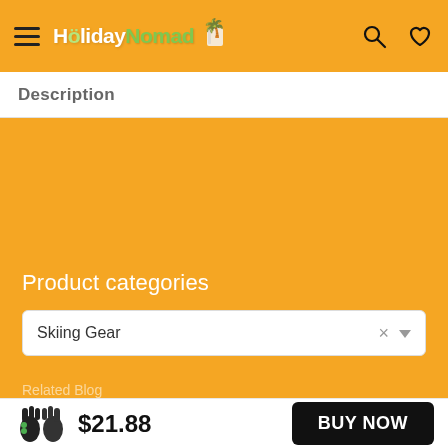HolidayNomad (navigation bar with logo, search, and wishlist icons)
Description
Product categories
Skiing Gear
$21.88
BUY NOW